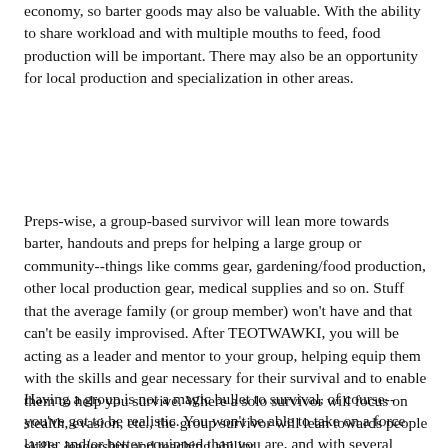economy, so barter goods may also be valuable. With the ability to share workload and with multiple mouths to feed, food production will be important. There may also be an opportunity for local production and specialization in other areas.
Preps-wise, a group-based survivor will lean more towards barter, handouts and preps for helping a large group or community--things like comms gear, gardening/food production, other local production gear, medical supplies and so on. Stuff that the average family (or group member) won't have and that can't be easily improvised. After TEOTWAWKI, you will be acting as a leader and mentor to your group, helping equip them with the skills and gear necessary for their survival and to enable them to help you survive. Where a solo survivor will focus on stealth, evasion, etc., the group survivor will lean towards people skills, leadership and teaching ability.
Having a group is not a magic bullet to survival, of course--you've got to be realistic. You won't be able to take on a force larger and/or better equipped than you are, and with several dozen or hundred people, your ability to run and hide...